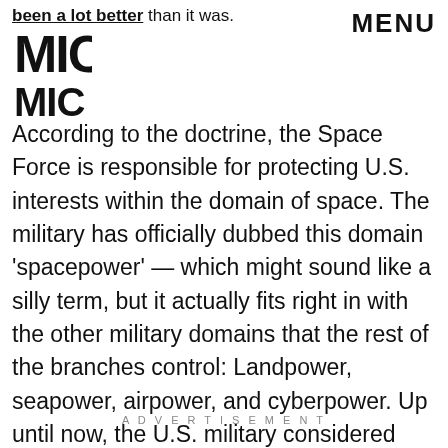been a lot better than it was.
MENU
[Figure (logo): MIC logo — bold stylized letters MIC stacked vertically]
According to the doctrine, the Space Force is responsible for protecting U.S. interests within the domain of space. The military has officially dubbed this domain 'spacepower' — which might sound like a silly term, but it actually fits right in with the other military domains that the rest of the branches control: Landpower, seapower, airpower, and cyberpower. Up until now, the U.S. military considered space an area related to the other powers rather than its own distinct domain.
ADVERTISEMENT